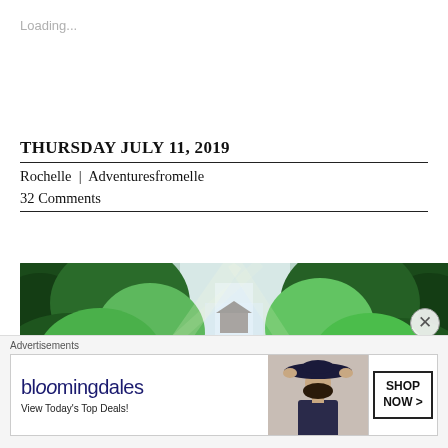Loading...
THURSDAY JULY 11, 2019
Rochelle | Adventuresfromelle
32 Comments
[Figure (photo): A waterfall surrounded by lush green tropical forest with mist and sunlight rays]
[Figure (other): Bloomingdale's advertisement banner: 'View Today's Top Deals!' with a woman wearing a hat and a SHOP NOW button]